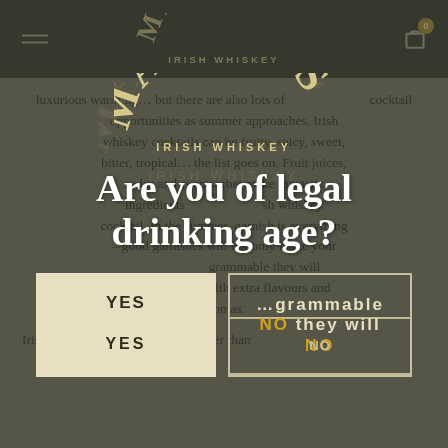Malones Irish Whiskey — site header with navigation
luxurious warming... but there are also lots of opportunities as summer approaches. Irish whiskey cocktails can be fruity, spicy, sweet, bitter, tropical... the list goes on. Fruit juices, sodas and even sorbet make fantastic ingredients for an Irish whiskey cocktail. In the summer, garnish is everything – good garnishes will not only make your drink Instagrammable they will infuse the drink with extra flavours and aromas.

Irish whiskey has been around longer than
[Figure (logo): Malones Irish Whiskey logo watermark overlay on background]
Are you of legal drinking age?
YES
NO